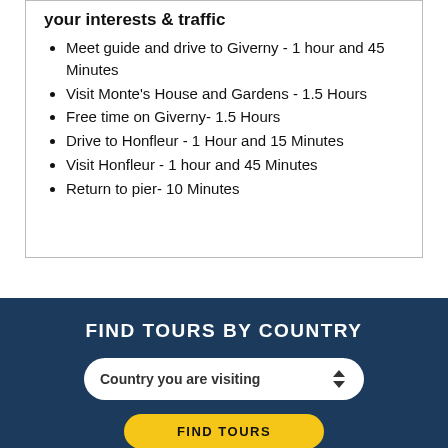your interests & traffic
Meet guide and drive to Giverny - 1 hour and 45 Minutes
Visit Monte's House and Gardens - 1.5 Hours
Free time on Giverny- 1.5 Hours
Drive to Honfleur - 1 Hour and 15 Minutes
Visit Honfleur - 1 hour and 45 Minutes
Return to pier- 10 Minutes
FIND TOURS BY COUNTRY
Country you are visiting
FIND TOURS